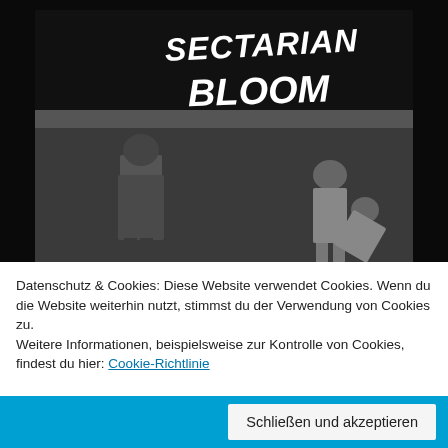[Figure (photo): Black and white photograph with 'Sectarian Bloom' text at top in graffiti-style white letters. Below shows a soldier in long coat and helmet standing on left, and two figures on right side, one bent over.]
Datenschutz & Cookies: Diese Website verwendet Cookies. Wenn du die Website weiterhin nutzt, stimmst du der Verwendung von Cookies zu.
Weitere Informationen, beispielsweise zur Kontrolle von Cookies, findest du hier: Cookie-Richtlinie
Schließen und akzeptieren